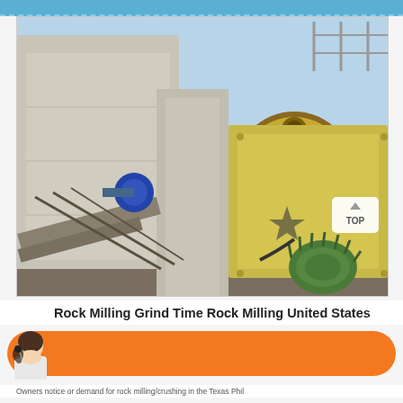[Figure (photo): Industrial rock milling/crushing machinery photographed outdoors. Large concrete structure with mechanical components including a large circular flywheel with holes (red and gold colored), green motor unit at bottom right, conveyor belt system at bottom left, and steel framework visible in background against a blue sky.]
Rock Milling Grind Time Rock Milling United States
Message
Online Chat
Owners notice or demand for rock milling/crushing in the Texas Phil